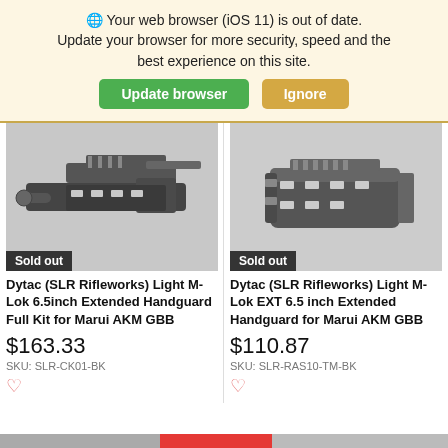🌐 Your web browser (iOS 11) is out of date. Update your browser for more security, speed and the best experience on this site.
Update browser
Ignore
[Figure (photo): Photo of Dytac SLR Rifleworks Light M-Lok 6.5inch Extended Handguard Full Kit for Marui AKM GBB airsoft gun part, with Sold out badge]
Dytac (SLR Rifleworks) Light M-Lok 6.5inch Extended Handguard Full Kit for Marui AKM GBB
$163.33
SKU: SLR-CK01-BK
[Figure (photo): Photo of Dytac SLR Rifleworks Light M-Lok EXT 6.5 inch Extended Handguard for Marui AKM GBB airsoft gun part, with Sold out badge]
Dytac (SLR Rifleworks) Light M-Lok EXT 6.5 inch Extended Handguard for Marui AKM GBB
$110.87
SKU: SLR-RAS10-TM-BK